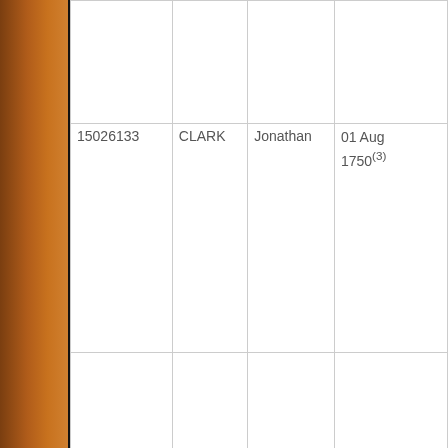|  |  |  |  |
| 15026133 | CLARK | Jonathan | 01 Aug 1750(3) |
|  |  |  |  |